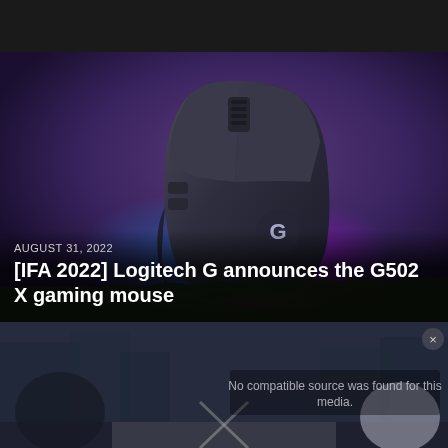[Figure (photo): Logitech G502 X gaming mouse with RGB lighting (blue to pink gradient) on a dark purple background with grass. Logitech G logo visible on side.]
AUGUST 31, 2022
[IFA 2022] Logitech G announces the G502 X gaming mouse
[Figure (screenshot): Video player showing blurred city scene with text overlay: No compatible source was found for this media.]